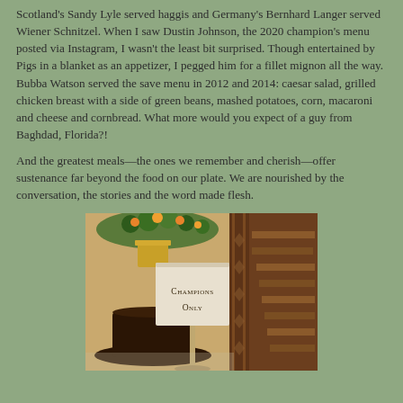Scotland's Sandy Lyle served haggis and Germany's Bernhard Langer served Wiener Schnitzel. When I saw Dustin Johnson, the 2020 champion's menu posted via Instagram, I wasn't the least bit surprised. Though entertained by Pigs in a blanket as an appetizer, I pegged him for a fillet mignon all the way. Bubba Watson served the save menu in 2012 and 2014: caesar salad, grilled chicken breast with a side of green beans, mashed potatoes, corn, macaroni and cheese and cornbread. What more would you expect of a guy from Baghdad, Florida?!
And the greatest meals—the ones we remember and cherish—offer sustenance far beyond the food on our plate. We are nourished by the conversation, the stories and the word made flesh.
[Figure (photo): Photo of a 'Champions Only' sign on a stand in an elegant interior with a dark wood staircase, floral arrangement, and decorative wood column.]